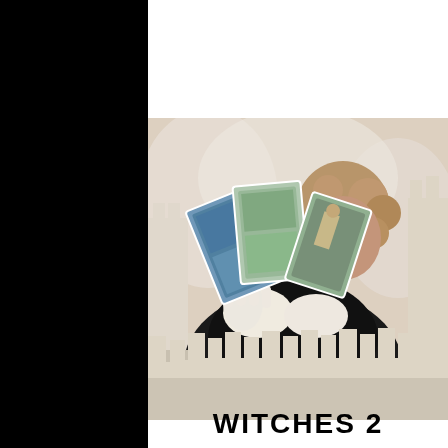[Figure (photo): A woman with curly hair holding fan of tarot cards with white gloved hands, standing behind a white ceramic castle model, photographed against a light background.]
WITCHES 2